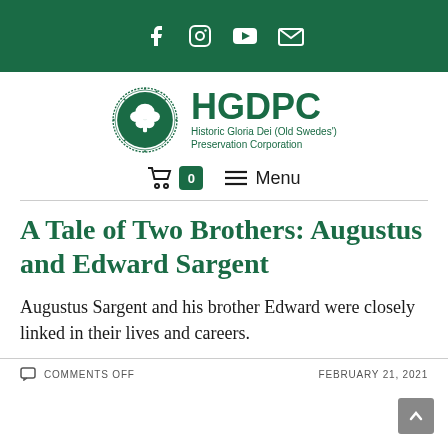HGDPC — Historic Gloria Dei (Old Swedes') Preservation Corporation
[Figure (logo): HGDPC logo with circular seal and organization name: Historic Gloria Dei (Old Swedes') Preservation Corporation]
A Tale of Two Brothers: Augustus and Edward Sargent
Augustus Sargent and his brother Edward were closely linked in their lives and careers.
COMMENTS OFF   FEBRUARY 21, 2021